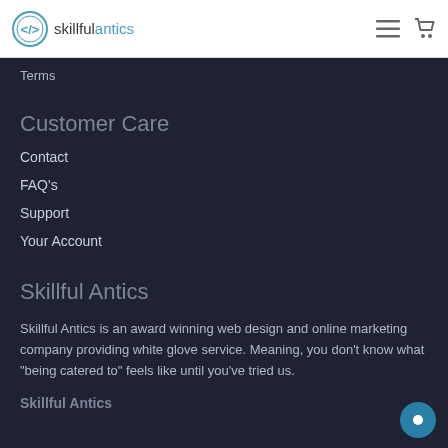skillfulantics
Terms
Customer Care
Contact
FAQ's
Support
Your Account
Skillful Antics
Skillful Antics is an award winning web design and online marketing company providing white glove service. Meaning, you don't know what "being catered to" feels like until you've tried us.
Skillful Antics